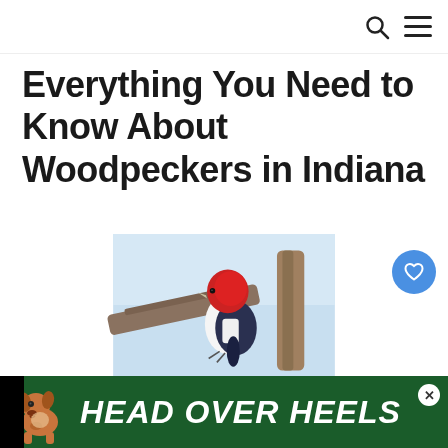Navigation icons: search, menu
Everything You Need to Know About Woodpeckers in Indiana
[Figure (photo): A red-headed woodpecker perched on a tree branch against a light blue sky background. The bird has a vivid red head, white breast, and dark blue-black wings.]
[Figure (infographic): Advertisement banner with a dog image and text 'HEAD OVER HEELS' on a dark green background]